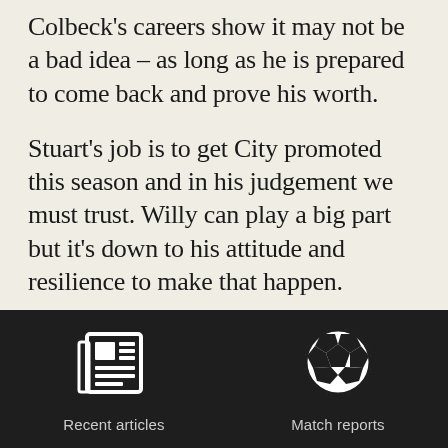Colbeck's careers show it may not be a bad idea – as long as he is prepared to come back and prove his worth.
Stuart's job is to get City promoted this season and in his judgement we must trust. Willy can play a big part but it's down to his attitude and resilience to make that happen.
[Figure (infographic): Dark footer bar with two navigation icons: a newspaper/articles icon labeled 'Recent articles' and a soccer ball icon labeled 'Match reports']